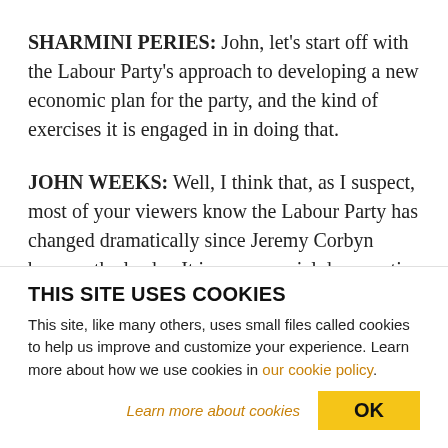SHARMINI PERIES: John, let's start off with the Labour Party's approach to developing a new economic plan for the party, and the kind of exercises it is engaged in in doing that.
JOHN WEEKS: Well, I think that, as I suspect, most of your viewers know the Labour Party has changed dramatically since Jeremy Corbyn became the leader. It is now a social democratic party again, or at least the leadership is. There is quite a split among the
THIS SITE USES COOKIES
This site, like many others, uses small files called cookies to help us improve and customize your experience. Learn more about how we use cookies in our cookie policy.
Learn more about cookies